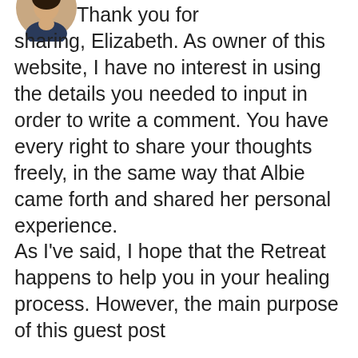[Figure (illustration): Small circular avatar illustration of a person, partially visible at top of page]
Thank you for sharing, Elizabeth. As owner of this website, I have no interest in using the details you needed to input in order to write a comment. You have every right to share your thoughts freely, in the same way that Albie came forth and shared her personal experience.
As I've said, I hope that the Retreat happens to help you in your healing process. However, the main purpose of this guest post